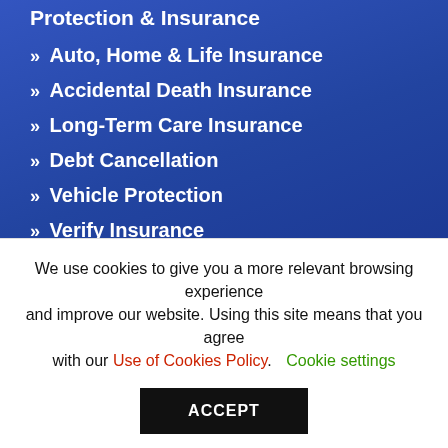Protection & Insurance
» Auto, Home & Life Insurance
» Accidental Death Insurance
» Long-Term Care Insurance
» Debt Cancellation
» Vehicle Protection
» Verify Insurance
[Figure (logo): Equal Housing Lender icon and American Share Insurance logo]
Your savings insured to $500,000 per account. By members' choice,
We use cookies to give you a more relevant browsing experience and improve our website. Using this site means that you agree with our Use of Cookies Policy. Cookie settings
ACCEPT